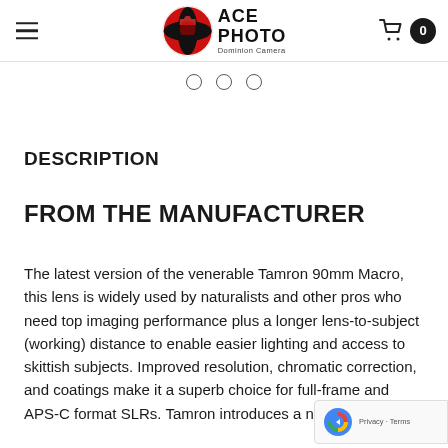ACE PHOTO Dominion Camera — navigation header with logo, hamburger menu, and cart
[Figure (other): Carousel pagination dots — three hollow circles indicating image slideshow position]
DESCRIPTION
FROM THE MANUFACTURER
The latest version of the venerable Tamron 90mm Macro, this lens is widely used by naturalists and other pros who need top imaging performance plus a longer lens-to-subject (working) distance to enable easier lighting and access to skittish subjects. Improved resolution, chromatic correction, and coatings make it a superb choice for full-frame and APS-C format SLRs. Tamron introduces a new version